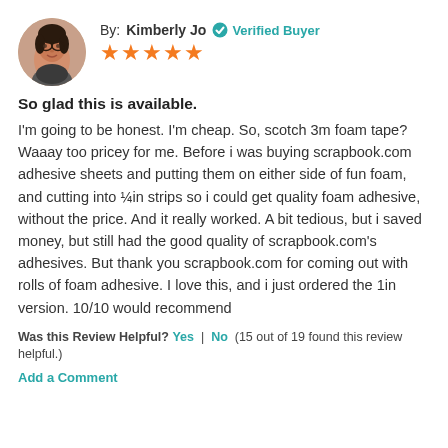By: Kimberly Jo  ✔ Verified Buyer
[Figure (illustration): Circular profile photo of Kimberly Jo, a young woman with glasses and dark hair]
★★★★★
So glad this is available.
I'm going to be honest. I'm cheap. So, scotch 3m foam tape? Waaay too pricey for me. Before i was buying scrapbook.com adhesive sheets and putting them on either side of fun foam, and cutting into ¼in strips so i could get quality foam adhesive, without the price. And it really worked. A bit tedious, but i saved money, but still had the good quality of scrapbook.com's adhesives. But thank you scrapbook.com for coming out with rolls of foam adhesive. I love this, and i just ordered the 1in version. 10/10 would recommend
Was this Review Helpful? Yes | No (15 out of 19 found this review helpful.)
Add a Comment